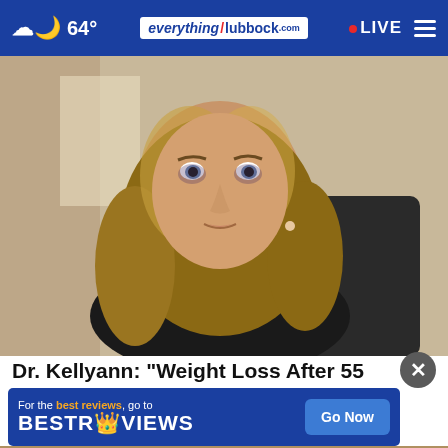64° | everything Lubbock | LIVE
[Figure (photo): Woman with blonde wavy hair wearing a black blazer, seated in a chair, speaking or presenting. Background shows a blurred interior room setting.]
Dr. Kellyann: "Weight Loss After 55 Comes Down to This Daily Routine"
Dr. Ke...
[Figure (infographic): Advertisement banner: 'For the best reviews, go to BESTREVIEWS' with a 'Go Now' button on blue background.]